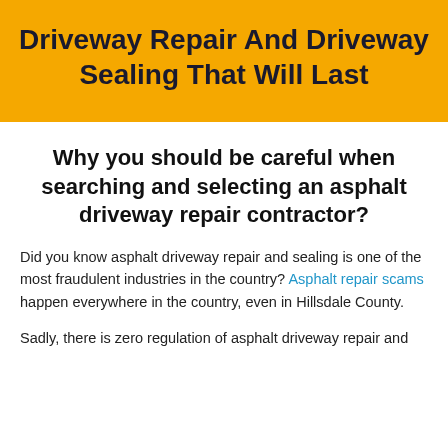Driveway Repair And Driveway Sealing That Will Last
Why you should be careful when searching and selecting an asphalt driveway repair contractor?
Did you know asphalt driveway repair and sealing is one of the most fraudulent industries in the country? Asphalt repair scams happen everywhere in the country, even in Hillsdale County.
Sadly, there is zero regulation of asphalt driveway repair and